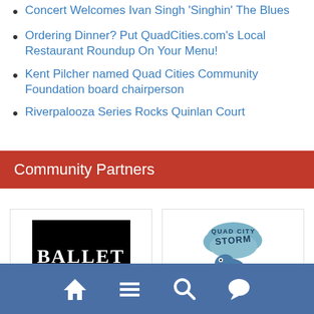Concert Welcomes Ivan Singh 'Singhin' The Blues
Ordering Dinner? Put QuadCities.com's Local Restaurant Roundup On Your Menu!
Kent Pilcher named Quad Cities Community Foundation board chairperson
Riverpalooza Series Rocks Quinlan Court
Community Partners
[Figure (logo): Ballet Quad Cities logo - white text on black background]
[Figure (logo): Quad City Storm hockey team logo with dinosaur mascot]
Navigation bar with home, menu, search, and chat icons